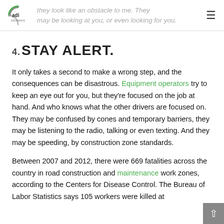adi — they look like an obstacle to me. They may be looking at you, or even looking for you.
4. STAY ALERT.
It only takes a second to make a wrong step, and the consequences can be disastrous. Equipment operators try to keep an eye out for you, but they're focused on the job at hand. And who knows what the other drivers are focused on. They may be confused by cones and temporary barriers, they may be listening to the radio, talking or even texting. And they may be speeding, by construction zone standards.
Between 2007 and 2012, there were 669 fatalities across the country in road construction and maintenance work zones, according to the Centers for Disease Control. The Bureau of Labor Statistics says 105 workers were killed at